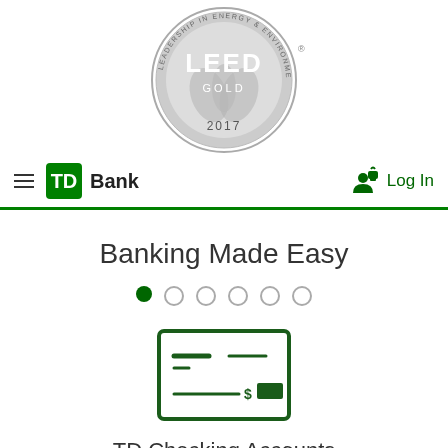[Figure (logo): LEED Gold 2017 certification badge, circular gray logo with text 'LEADERSHIP IN ENERGY AND ENVIRONMENTAL DESIGN', 'LEED', 'GOLD', '2017']
[Figure (logo): TD Bank navigation bar with hamburger menu, green TD square logo, 'Bank' text, and 'Log In' link with person/lock icon]
Banking Made Easy
[Figure (illustration): Icon of a bank check/cheque with dark green border, two horizontal lines at top left, a dollar sign and green filled rectangle at bottom right]
TD Checking Accounts